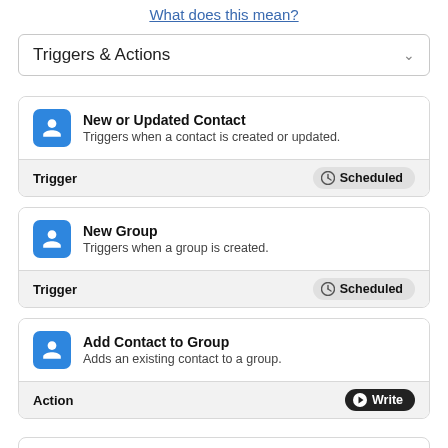What does this mean?
Triggers & Actions
New or Updated Contact
Triggers when a contact is created or updated.
Trigger
Scheduled
New Group
Triggers when a group is created.
Trigger
Scheduled
Add Contact to Group
Adds an existing contact to a group.
Action
Write